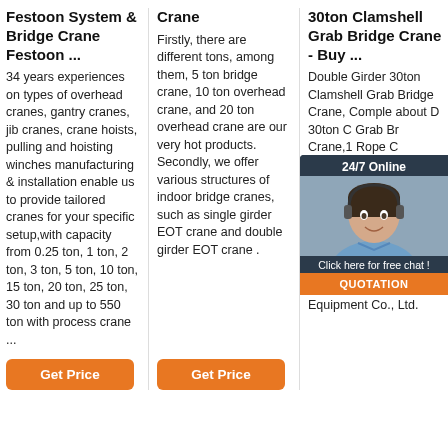Festoon System & Bridge Crane Festoon ...
34 years experiences on types of overhead cranes, gantry cranes, jib cranes, crane hoists, pulling and hoisting winches manufacturing & installation enable us to provide tailored cranes for your specific setup,with capacity from 0.25 ton, 1 ton, 2 ton, 3 ton, 5 ton, 10 ton, 15 ton, 20 ton, 25 ton, 30 ton and up to 550 ton with process crane ...
Get Price
Crane
Firstly, there are different tons, among them, 5 ton bridge crane, 10 ton overhead crane, and 20 ton overhead crane are our very hot products. Secondly, we offer various structures of indoor bridge cranes, such as single girder EOT crane and double girder EOT crane .
Get Price
30ton Clamshell Grab Bridge Crane - Buy ...
Double Girder 30ton Clamshell Grab Bridge Crane, Complete about Double Girder 30ton Clamshell Grab Bridge Crane,1 Wire Rope Crane Grabs,Clamshell Grab Crane,Tower Cranes Hydraulic Cranes Sale from Material Handling Equipment Parts Supplier or Manufacturer-Henan Armagh Machinery Equipment Co., Ltd.
[Figure (infographic): Live chat widget showing a customer service agent photo with '24/7 Online' text, 'Click here for free chat!' text, and an orange QUOTATION button]